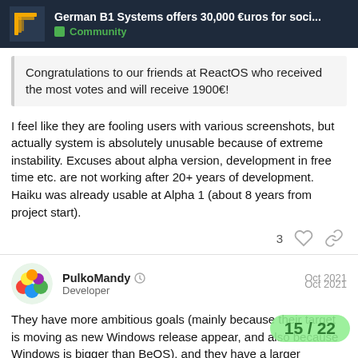German B1 Systems offers 30,000 €uros for soci... | Community
Congratulations to our friends at ReactOS who received the most votes and will receive 1900€!
I feel like they are fooling users with various screenshots, but actually system is absolutely unusable because of extreme instability. Excuses about alpha version, development in free time etc. are not working after 20+ years of development. Haiku was already usable at Alpha 1 (about 8 years from project start).
3
PulkoMandy 🛡 Developer Oct 2021
They have more ambitious goals (mainly because their target is moving as new Windows release appear, and also because Windows is bigger than BeOS), and they h... userbase (because a lot of people use Win...
15 / 22